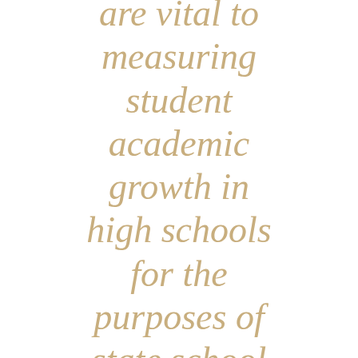are vital to measuring student academic growth in high schools for the purposes of state school report cards